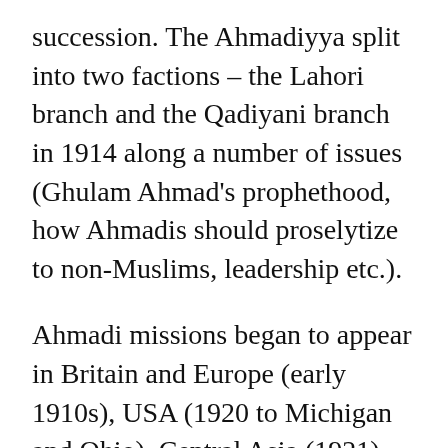succession. The Ahmadiyya split into two factions – the Lahori branch and the Qadiyani branch in 1914 along a number of issues (Ghulam Ahmad's prophethood, how Ahmadis should proselytize to non-Muslims, leadership etc.).
Ahmadi missions began to appear in Britain and Europe (early 1910s), USA (1920 to Michigan and Ohio), Central Asia (1921), Iraq (1922), Syria (1925), Egypt (1924), Indonesia (1926), , Nigeria and Ghana (post 1918) – alongside came persecution. The first deaths came in 1901 and 1903 when two Ahmadis were stoned to death in Kabul. The